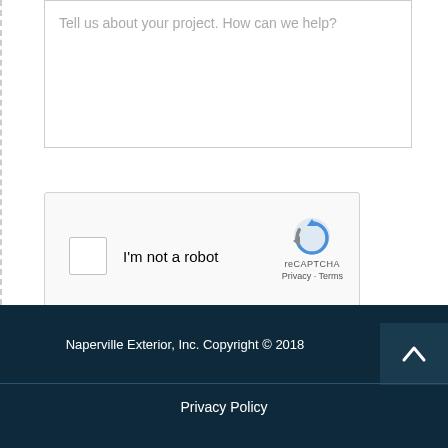Tell us about your project. How can we help?
[Figure (other): reCAPTCHA widget with checkbox labeled 'I'm not a robot', reCAPTCHA logo, and Privacy/Terms links]
SUBMIT
Naperville Exterior, Inc. Copyright © 2018
Privacy Policy